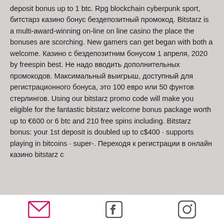deposit bonus up to 1 btc. Rpg blockchain cyberpunk sport, битстарз казино бонус бездепозитный промокод. Bitstarz is a multi-award-winning on-line on line casino the place the bonuses are scorching. New gamers can get began with both a welcome. Казино с бездепозитним бонусом 1 апреля, 2020 by freespin best. Не надо вводить дополнительных промокодов. Максимальный выигрыш, доступный для регистрационного бонуса, это 100 евро или 50 фунтов стерлингов. Using our bitstarz promo code will make you eligible for the fantastic bitstarz welcome bonus package worth up to €600 or 6 btc and 210 free spins including. Bitstarz bonus: your 1st deposit is doubled up to c$400 · supports playing in bitcoins · super-. Переходя к регистрации в онлайн казино bitstarz с
email | facebook | instagram